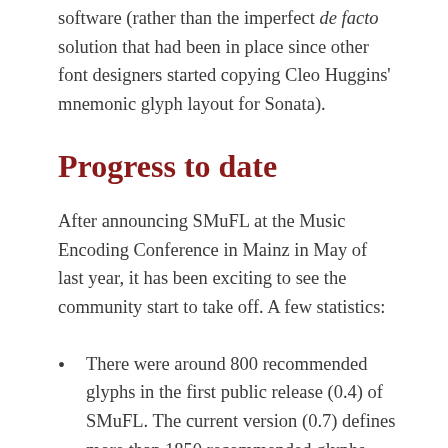software (rather than the imperfect de facto solution that had been in place since other font designers started copying Cleo Huggins' mnemonic glyph layout for Sonata).
Progress to date
After announcing SMuFL at the Music Encoding Conference in Mainz in May of last year, it has been exciting to see the community start to take off. A few statistics:
There were around 800 recommended glyphs in the first public release (0.4) of SMuFL. The current version (0.7) defines more than 1850 recommended glyphs, and hundreds more recommended